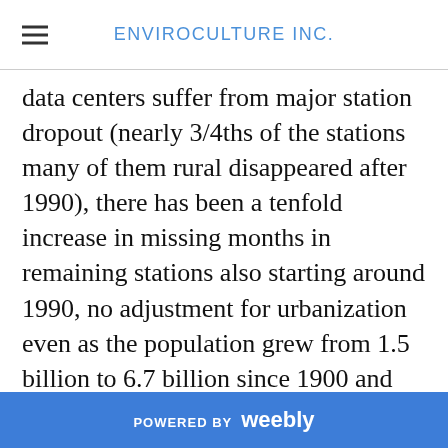ENVIROCULTURE INC.
data centers suffer from major station dropout (nearly 3/4ths of the stations many of them rural disappeared after 1990), there has been a tenfold increase in missing months in remaining stations also starting around 1990, no adjustment for urbanization even as the population grew from 1.5 billion to 6.7 billion since 1900 and documented bad station siting for 90% of the observing sites in the United States and almost certainly elsewhere.
You can see the coverage difference
POWERED BY weebly